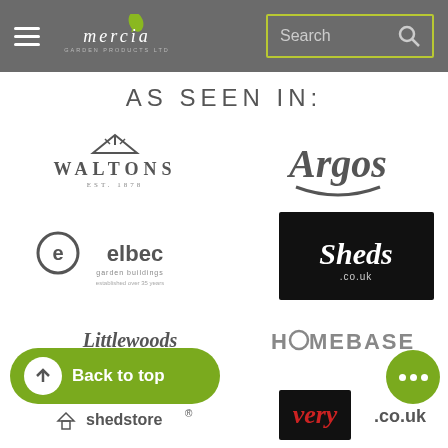[Figure (screenshot): Mercia Garden Products website header with hamburger menu, Mercia logo, and search box with yellow-green border]
AS SEEN IN:
[Figure (logo): Waltons logo - EST. 1878 with house/roof icon above]
[Figure (logo): Argos logo in italic bold with curved underline]
[Figure (logo): elbec garden buildings logo with circular e icon]
[Figure (logo): Sheds.co.uk logo in white italic script on black background]
[Figure (logo): Littlewoods logo in italic script]
[Figure (logo): HOMEBASE logo in bold grey uppercase letters]
[Figure (logo): shedstore logo with house icon and registered trademark]
[Figure (logo): very.co.uk logo with very in red on dark background and .co.uk in grey]